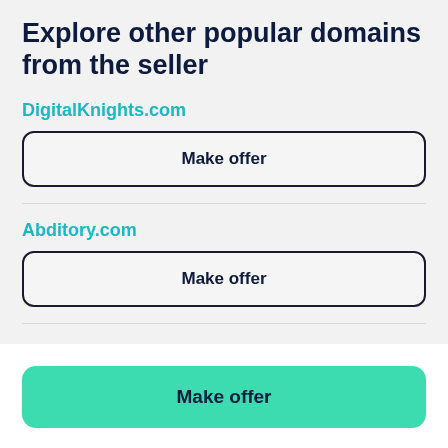Explore other popular domains from the seller
DigitalKnights.com
Make offer
Abditory.com
Make offer
Make offer